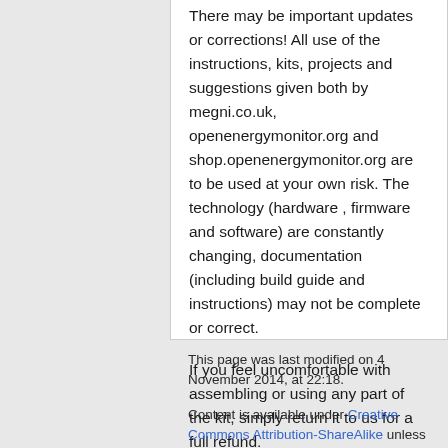There may be important updates or corrections! All use of the instructions, kits, projects and suggestions given both by megni.co.uk, openenergymonitor.org and shop.openenergymonitor.org are to be used at your own risk. The technology (hardware , firmware and software) are constantly changing, documentation (including build guide and instructions) may not be complete or correct.
If you feel uncomfortable with assembling or using any part of the kit, simply return it to us for a full refund.
This page was last modified on 4 November 2014, at 22:18.
Content is available under Creative Commons Attribution-ShareAlike unless otherwise noted.
Privacy policy